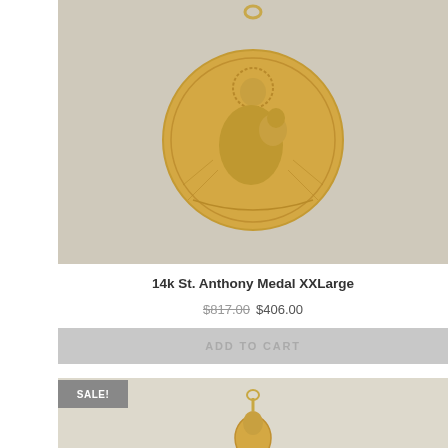[Figure (photo): Gold 14k St. Anthony Medal XXLarge pendant with religious engraving, shown on grey/white background]
14k St. Anthony Medal XXLarge
$817.00 $406.00
ADD TO CART
[Figure (photo): Second product photo showing a gold jewelry item, partially visible, with SALE! badge overlay]